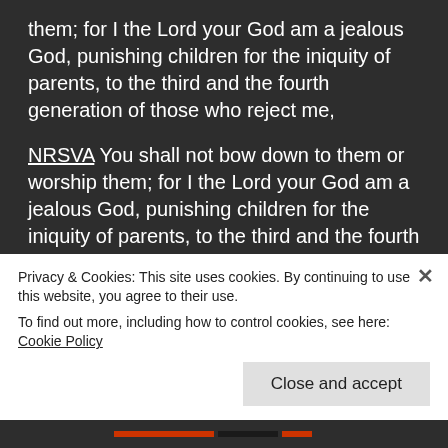them; for I the Lord your God am a jealous God, punishing children for the iniquity of parents, to the third and the fourth generation of those who reject me,
NRSVA You shall not bow down to them or worship them; for I the Lord your God am a jealous God, punishing children for the iniquity of parents, to the third and the fourth generation of those who reject me,
NRSVACE You shall not bow down to them or worship them; for I the Lord your God am a jealous God, punishing children for the iniquity of parents, to the third and the fourth generation of those who reject me,
Privacy & Cookies: This site uses cookies. By continuing to use this website, you agree to their use.
To find out more, including how to control cookies, see here: Cookie Policy
Close and accept